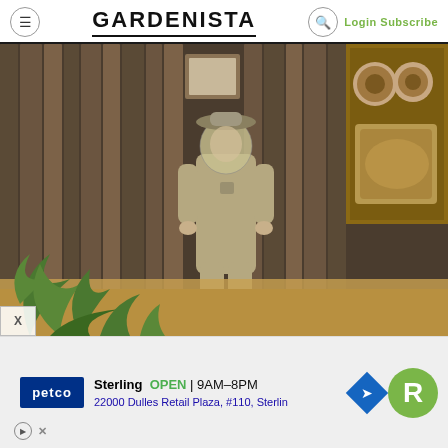GARDENISTA — Login Subscribe
[Figure (photo): Woman in a beekeeping suit with veil standing in front of a rustic wooden plank wall with a built-in display niche containing logs and natural objects. Green plants in foreground, wood chip ground cover.]
Sterling   OPEN | 9AM–8PM
22000 Dulles Retail Plaza, #110, Sterling